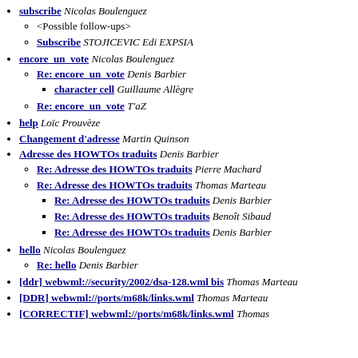subscribe Nicolas Boulenguez
<Possible follow-ups>
Subscribe STOJICEVIC Edi EXPSIA
encore_un_vote Nicolas Boulenguez
Re: encore_un_vote Denis Barbier
character cell Guillaume Allègre
Re: encore_un_vote T'aZ
help Loïc Prouvèze
Changement d'adresse Martin Quinson
Adresse des HOWTOs traduits Denis Barbier
Re: Adresse des HOWTOs traduits Pierre Machard
Re: Adresse des HOWTOs traduits Thomas Marteau
Re: Adresse des HOWTOs traduits Denis Barbier
Re: Adresse des HOWTOs traduits Benoît Sibaud
Re: Adresse des HOWTOs traduits Denis Barbier
hello Nicolas Boulenguez
Re: hello Denis Barbier
[ddr] webwml://security/2002/dsa-128.wml bis Thomas Marteau
[DDR] webwml://ports/m68k/links.wml Thomas Marteau
[CORRECTIF] webwml://ports/m68k/links.wml Thomas